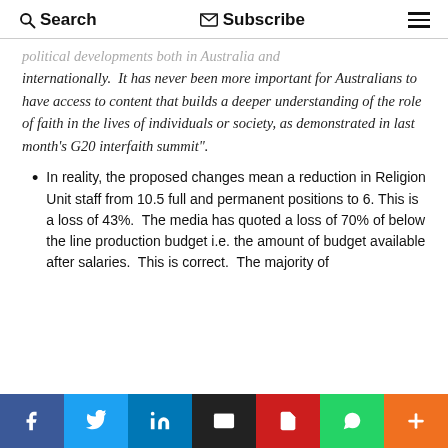Search  Subscribe  ☰
political developments both in Australia and internationally.  It has never been more important for Australians to have access to content that builds a deeper understanding of the role of faith in the lives of individuals or society, as demonstrated in last month's G20 interfaith summit".
In reality, the proposed changes mean a reduction in Religion Unit staff from 10.5 full and permanent positions to 6. This is a loss of 43%.  The media has quoted a loss of 70% of below the line production budget i.e. the amount of budget available after salaries.  This is correct.  The majority of
f  Twitter  in  Email  PDF  WhatsApp  +